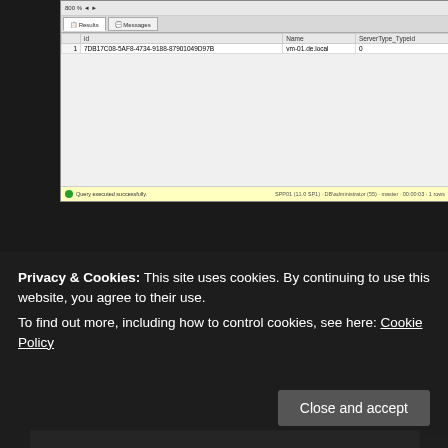[Figure (screenshot): SQL Server Management Studio screenshot showing query results grid. Results tab active. Table with columns: id (7DB17C08-5AF8-4734-9188-87901049D97B), Name (vm-01.de.local), ServerType_Typeid (0). Row 1 shown. Status bar shows: Query executed successfully. SPP01 (11.0 SP1) · DB\administrator (55) · master · 00:00:03 · 1 rows]
[Figure (screenshot): SQL Server Management Studio code editor screenshot showing SQL query: /****** Script for SelectTopNRows command from SSMS ******/ SELECT TOP 1000 [Server_Id] ,[Stamp_Id] FROM [SCPITDB].[sissp].[ServerStamps]. Two tabs visible: SQLQuery2.sql - SPF...administrator (55), SQLQuery1.sql - SPF...administrator (55).]
Privacy & Cookies: This site uses cookies. By continuing to use this website, you agree to their use.
To find out more, including how to control cookies, see here: Cookie Policy